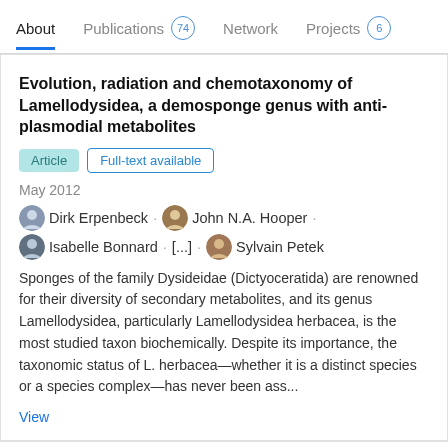About  Publications 74  Network  Projects 6
Evolution, radiation and chemotaxonomy of Lamellodysidea, a demosponge genus with anti-plasmodial metabolites
Article  Full-text available
May 2012
Dirk Erpenbeck · John N.A. Hooper · Isabelle Bonnard · [...] · Sylvain Petek
Sponges of the family Dysideidae (Dictyoceratida) are renowned for their diversity of secondary metabolites, and its genus Lamellodysidea, particularly Lamellodysidea herbacea, is the most studied taxon biochemically. Despite its importance, the taxonomic status of L. herbacea—whether it is a distinct species or a species complex—has never been ass...
View
Pipestelides A-C: Cyclodepsipeptides from the Pacific Marine Sponge Pipestela candelabra